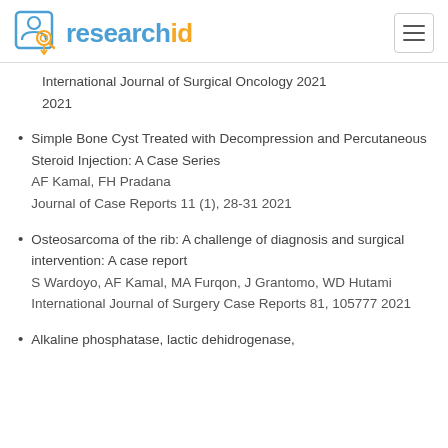researchid
International Journal of Surgical Oncology 2021
2021
Simple Bone Cyst Treated with Decompression and Percutaneous Steroid Injection: A Case Series
AF Kamal, FH Pradana
Journal of Case Reports 11 (1), 28-31 2021
Osteosarcoma of the rib: A challenge of diagnosis and surgical intervention: A case report
S Wardoyo, AF Kamal, MA Furqon, J Grantomo, WD Hutami
International Journal of Surgery Case Reports 81, 105777 2021
Alkaline phosphatase, lactic dehidrogenase,